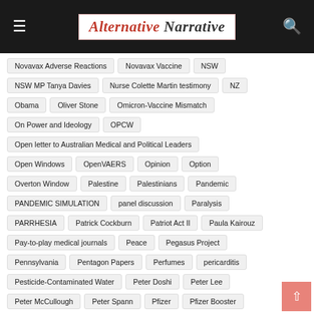[Figure (logo): Alternative Narrative website logo in cursive font on white background with red border]
Novavax Adverse Reactions
Novavax Vaccine
NSW
NSW MP Tanya Davies
Nurse Colette Martin testimony
NZ
Obama
Oliver Stone
Omicron-Vaccine Mismatch
On Power and Ideology
OPCW
Open letter to Australian Medical and Political Leaders
Open Windows
OpenVAERS
Opinion
Option
Overton Window
Palestine
Palestinians
Pandemic
PANDEMIC SIMULATION
panel discussion
Paralysis
PARRHESIA
Patrick Cockburn
Patriot Act II
Paula Kairouz
Pay-to-play medical journals
Peace
Pegasus Project
Pennsylvania
Pentagon Papers
Perfumes
pericarditis
Pesticide-Contaminated Water
Peter Doshi
Peter Lee
Peter McCullough
Peter Spann
Pfizer
Pfizer Booster